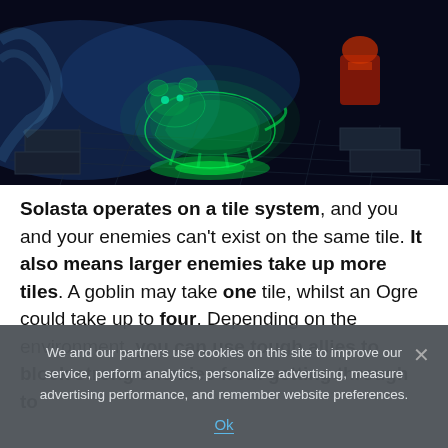[Figure (screenshot): A dark fantasy game screenshot showing a glowing green holographic bear-like creature on a tile-based map. The scene is dark with blue ambient lighting and glowing green effects beneath the creature. A red-colored character or object is visible in the upper right area.]
Solasta operates on a tile system, and you and your enemies can't exist on the same tile. It also means larger enemies take up more tiles. A goblin may take one tile, whilst an Ogre could take up to four. Depending on the environment, you can use tough allies to block strong enemies from getting through to
We and our partners use cookies on this site to improve our service, perform analytics, personalize advertising, measure advertising performance, and remember website preferences.
Ok